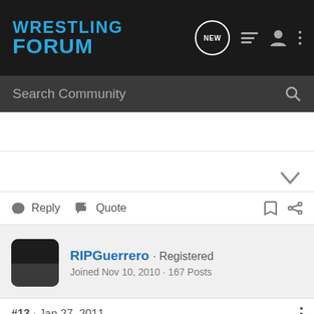WRESTLING FORUM
Search Community
Reply  Quote
RIPGuerrero · Registered
Joined Nov 10, 2010 · 167 Posts
#13 · Jan 27, 2011
JuviJuiceIsLoose said: